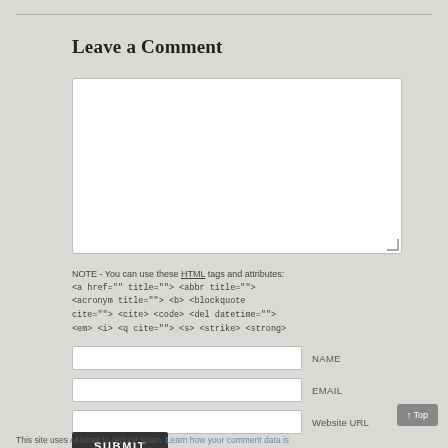Leave a Comment
[Figure (screenshot): Large empty comment textarea input box with white background and resize handle]
NOTE - You can use these HTML tags and attributes:
<a href="" title=""> <abbr title="">
<acronym title=""> <b> <blockquote
cite=""> <cite> <code> <del datetime="">
<em> <i> <q cite=""> <s> <strike> <strong>
[Figure (screenshot): Name input field with label NAME]
[Figure (screenshot): Email input field with label EMAIL]
[Figure (screenshot): Website URL input field with label Website URL]
[Figure (screenshot): Dark Submit button]
This site uses Akismet to reduce spam. Learn how your comment data is